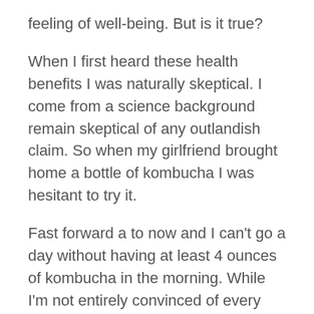feeling of well-being. But is it true?
When I first heard these health benefits I was naturally skeptical. I come from a science background remain skeptical of any outlandish claim. So when my girlfriend brought home a bottle of kombucha I was hesitant to try it.
Fast forward a to now and I can’t go a day without having at least 4 ounces of kombucha in the morning. While I’m not entirely convinced of every claim made of kombucha, it’s hard to argue with how it makes me feel.
I’ve spent most of my adult life battling...